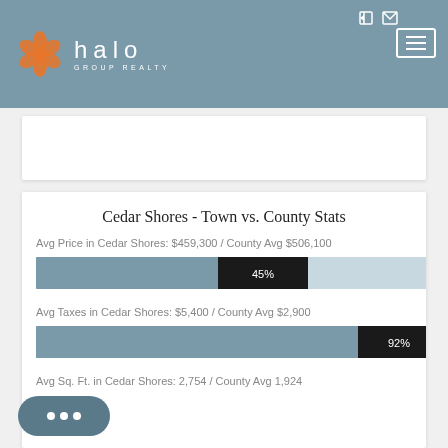[Figure (logo): Halo Group Realty logo with orange flower and white text]
Cedar Shores - Town vs. County Stats
Avg Price in Cedar Shores: $459,300 / County Avg $506,100
[Figure (bar-chart): Avg Price comparison]
Avg Taxes in Cedar Shores: $5,400 / County Avg $2,900
[Figure (bar-chart): Avg Taxes comparison]
Avg Sq. Ft. in Cedar Shores: 2,754 / County Avg 1,924